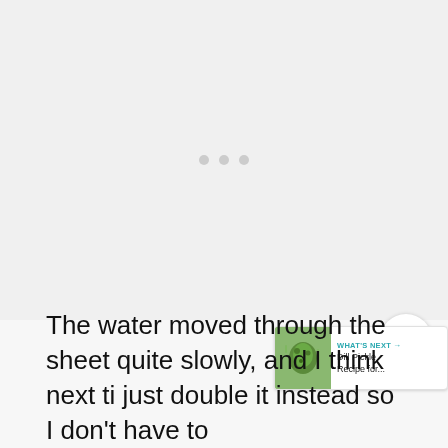[Figure (other): Advertisement placeholder area with three grey dots indicating loading]
[Figure (other): Share widget button (circular white button with share icon)]
[Figure (other): What's Next card showing 'Dill Pickle Recipe for...' with a thumbnail of pickles]
The water moved through the sheet quite slowly, and I think next ti just double it instead so I don't have to